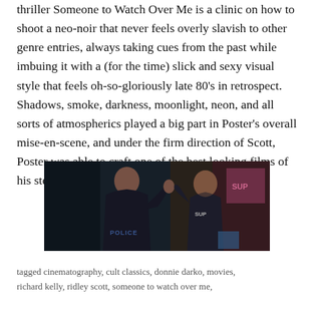thriller Someone to Watch Over Me is a clinic on how to shoot a neo-noir that never feels overly slavish to other genre entries, always taking cues from the past while imbuing it with a (for the time) slick and sexy visual style that feels oh-so-gloriously late 80's in retrospect. Shadows, smoke, darkness, moonlight, neon, and all sorts of atmospherics played a big part in Poster's overall mise-en-scene, and under the firm direction of Scott, Poster was able to craft one of the best looking films of his stellar career.
[Figure (photo): A film still showing two people facing each other in what appears to be a neon-lit urban setting. One person is seen from behind wearing a dark police shirt, the other faces forward wearing a shirt with 'SUP' visible, gesturing with raised hands.]
tagged cinematography, cult classics, donnie darko, movies, richard kelly, ridley scott, someone to watch over me,